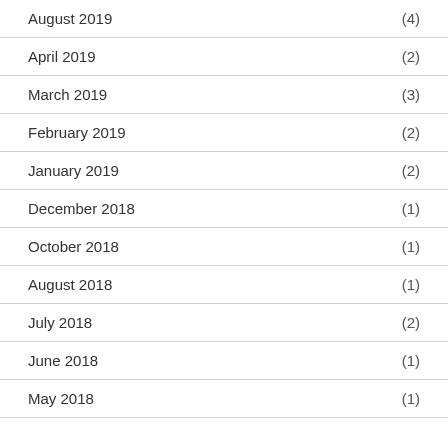August 2019 (4)
April 2019 (2)
March 2019 (3)
February 2019 (2)
January 2019 (2)
December 2018 (1)
October 2018 (1)
August 2018 (1)
July 2018 (2)
June 2018 (1)
May 2018 (1)